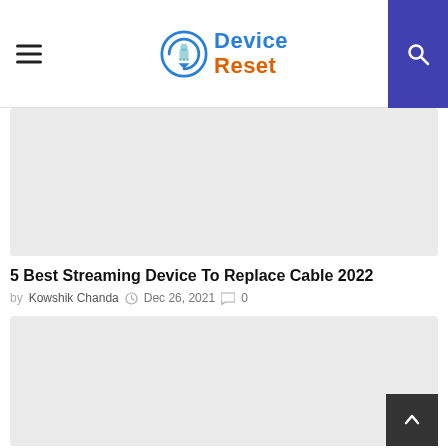Device Reset
[Figure (photo): Placeholder image area for an article thumbnail (light gray rectangle)]
5 Best Streaming Device To Replace Cable 2022
by Kowshik Chanda   Dec 26, 2021   0
[Figure (photo): Placeholder image area for a second article thumbnail (light gray rectangle)]